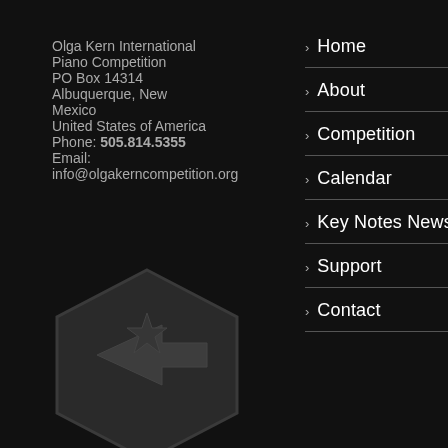Olga Kern International Piano Competition
PO Box 14314
Albuquerque, New Mexico
United States of America
Phone: 505.814.5355
Email:
info@olgakerncompetition.org
> Home
> About
> Competition
> Calendar
> Key Notes News
> Support
> Contact
[Figure (logo): Dark hexagonal logo with arrow/star shape inside, watermark style on black background]